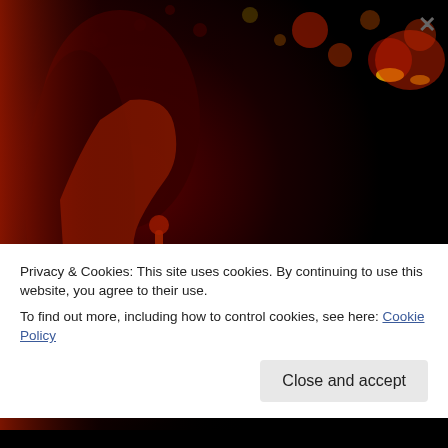[Figure (photo): Dark horror movie promotional image showing a woman with long hair holding a finger to her lips in a shushing gesture, lit in red tones against a dark background with bokeh lights. Text overlay reads: 'IF THEY HEAR YOU, THEY HUNT YOU' in bold white and red font.]
Privacy & Cookies: This site uses cookies. By continuing to use this website, you agree to their use.
To find out more, including how to control cookies, see here: Cookie Policy
Close and accept